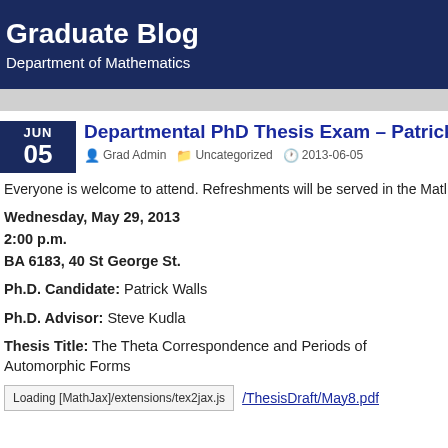Graduate Blog
Department of Mathematics
Departmental PhD Thesis Exam – Patrick W
Grad Admin   Uncategorized   2013-06-05
Everyone is welcome to attend. Refreshments will be served in the Math Loun
Wednesday, May 29, 2013
2:00 p.m.
BA 6183, 40 St George St.
Ph.D. Candidate: Patrick Walls
Ph.D. Advisor: Steve Kudla
Thesis Title: The Theta Correspondence and Periods of Automorphic Forms
Loading [MathJax]/extensions/tex2jax.js
/ThesisDraft/May8.pdf